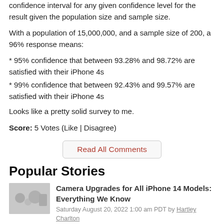confidence interval for any given confidence level for the result given the population size and sample size.
With a population of 15,000,000, and a sample size of 200, a 96% response means:
* 95% confidence that between 93.28% and 98.72% are satisfied with their iPhone 4s
* 99% confidence that between 92.43% and 99.57% are satisfied with their iPhone 4s
Looks like a pretty solid survey to me.
Score: 5 Votes (Like | Disagree)
Read All Comments
Popular Stories
Camera Upgrades for All iPhone 14 Models: Everything We Know
Saturday August 20, 2022 1:00 am PDT by Hartley Charlton